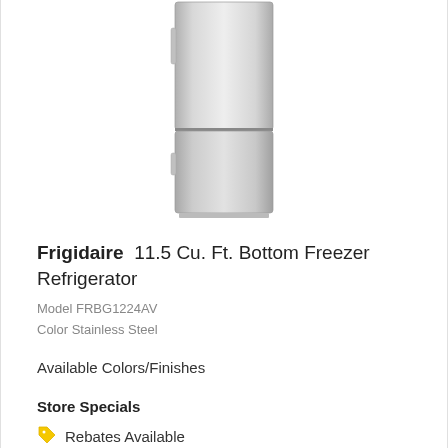[Figure (photo): Frigidaire bottom freezer refrigerator in stainless steel finish, showing full-length front view with upper fridge compartment and lower freezer drawer.]
Frigidaire 11.5 Cu. Ft. Bottom Freezer Refrigerator
Model FRBG1224AV
Color Stainless Steel
Available Colors/Finishes
Store Specials
Rebates Available